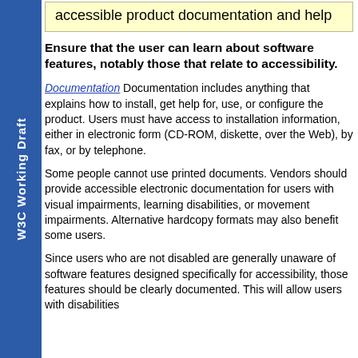W3C Working Draft
accessible product documentation and help
Ensure that the user can learn about software features, notably those that relate to accessibility.
Documentation Documentation includes anything that explains how to install, get help for, use, or configure the product. Users must have access to installation information, either in electronic form (CD-ROM, diskette, over the Web), by fax, or by telephone.
Some people cannot use printed documents. Vendors should provide accessible electronic documentation for users with visual impairments, learning disabilities, or movement impairments. Alternative hardcopy formats may also benefit some users.
Since users who are not disabled are generally unaware of software features designed specifically for accessibility, those features should be clearly documented. This will allow users with disabilities